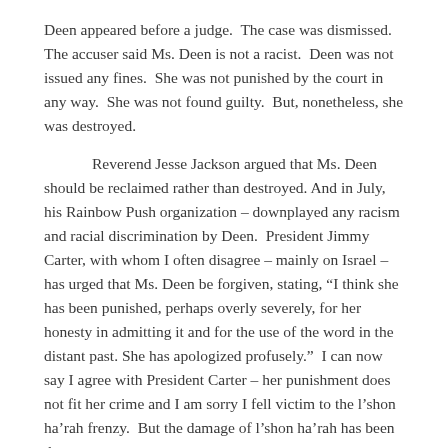Deen appeared before a judge.  The case was dismissed.  The accuser said Ms. Deen is not a racist.  Deen was not issued any fines.  She was not punished by the court in any way.  She was not found guilty.  But, nonetheless, she was destroyed.
Reverend Jesse Jackson argued that Ms. Deen should be reclaimed rather than destroyed. And in July, his Rainbow Push organization – downplayed any racism and racial discrimination by Deen.  President Jimmy Carter, with whom I often disagree – mainly on Israel – has urged that Ms. Deen be forgiven, stating, “I think she has been punished, perhaps overly severely, for her honesty in admitting it and for the use of the word in the distant past. She has apologized profusely.”  I can now say I agree with President Carter – her punishment does not fit her crime and I am sorry I fell victim to the l’shon ha’rah frenzy.  But the damage of l’shon ha’rah has been done.
There is a famous story about a man who spreads gossip about another member of his town.  He realizes he has been wrong and visits the rabbi to determine what he can do to repair